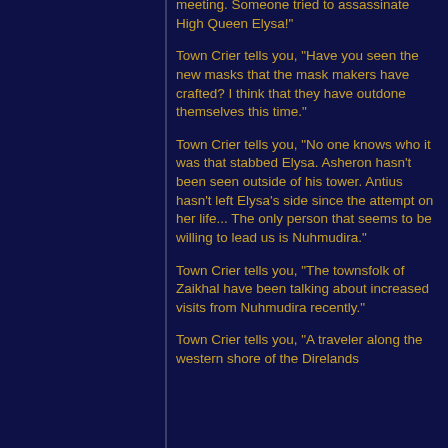meeting. Someone tried to assassinate High Queen Elysa!
Town Crier tells you, "Have you seen the new masks that the mask makers have crafted? I think that they have outdone themselves this time."
Town Crier tells you, "No one knows who it was that stabbed Elysa. Asheron hasn't been seen outside of his tower. Antius hasn't left Elysa's side since the attempt on her life... The only person that seems to be willing to lead us is Nuhmudira."
Town Crier tells you, "The townsfolk of Zaikhal have been talking about increased visits from Nuhmudira recently."
Town Crier tells you, "A traveler along the western shore of the Direlands reports having seen a few...